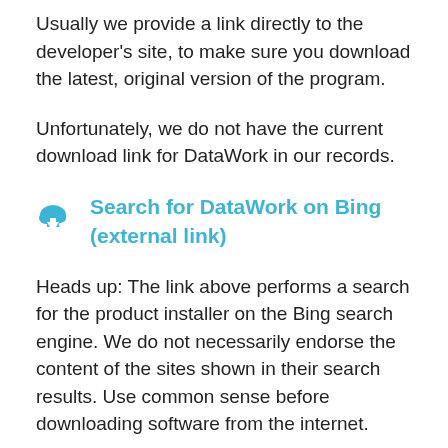Usually we provide a link directly to the developer's site, to make sure you download the latest, original version of the program.
Unfortunately, we do not have the current download link for DataWork in our records.
Search for DataWork on Bing (external link)
Heads up: The link above performs a search for the product installer on the Bing search engine. We do not necessarily endorse the content of the sites shown in their search results. Use common sense before downloading software from the internet.
File types supported by DataWork
Our users primarily use DataWork to open these